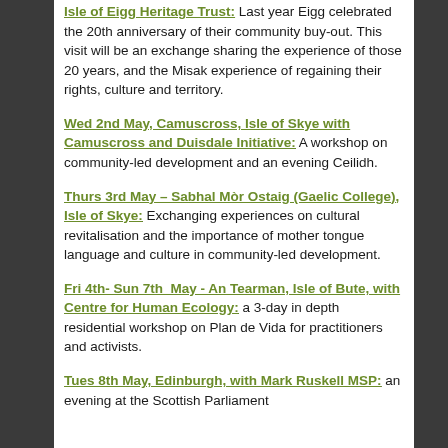Isle of Eigg Heritage Trust: Last year Eigg celebrated the 20th anniversary of their community buy-out. This visit will be an exchange sharing the experience of those 20 years, and the Misak experience of regaining their rights, culture and territory.
Wed 2nd May, Camuscross, Isle of Skye with Camuscross and Duisdale Initiative: A workshop on community-led development and an evening Ceilidh.
Thurs 3rd May – Sabhal Mòr Ostaig (Gaelic College), Isle of Skye: Exchanging experiences on cultural revitalisation and the importance of mother tongue language and culture in community-led development.
Fri 4th- Sun 7th May - An Tearman, Isle of Bute, with Centre for Human Ecology: a 3-day in depth residential workshop on Plan de Vida for practitioners and activists.
Tues 8th May, Edinburgh, with Mark Ruskell MSP: an evening at the Scottish Parliament